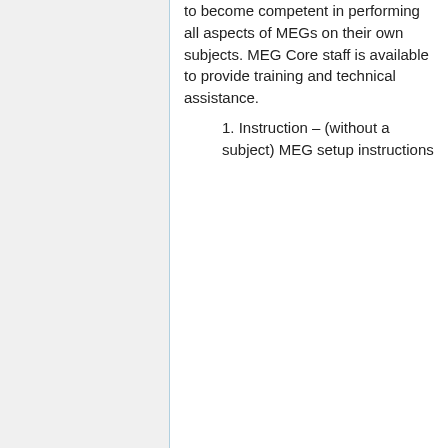to become competent in performing all aspects of MEGs on their own subjects. MEG Core staff is available to provide training and technical assistance.
1. Instruction – (without a subject) MEG setup instructions